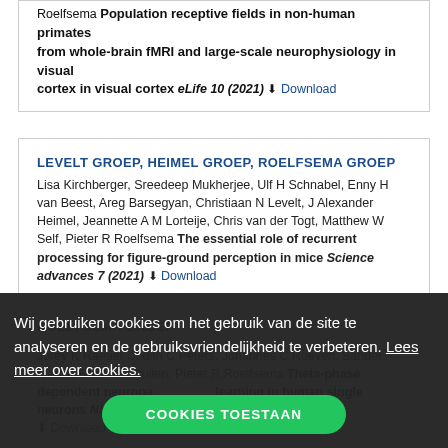Roelfsema Population receptive fields in non-human primates from whole-brain fMRI and large-scale neurophysiology in visual cortex in visual cortex eLife 10 (2021) Download
LEVELT GROEP, HEIMEL GROEP, ROELFSEMA GROEP
Lisa Kirchberger, Sreedeep Mukherjee, Ulf H Schnabel, Enny H van Beest, Areg Barsegyan, Christiaan N Levelt, J Alexander Heimel, Jeannette A M Lorteije, Chris van der Togt, Matthew W Self, Pieter R Roelfsema The essential role of recurrent processing for figure-ground perception in mice Science advances 7 (2021) Download
ROELFSEMA GROEP
Jorey K Raeael, Judith C Peters, Johannes C Roeven, Sander Idema, Rufin VanRullen, Pieter R Roelfsema Theta-phase dependent neuronal... learning in human single neurons Nature... (2021) 4839 Download
Wij gebruiken cookies om het gebruik van de site te analyseren en de gebruiksvriendelijkheid te verbeteren. Lees meer over cookies.
COOKIES TOESTAAN